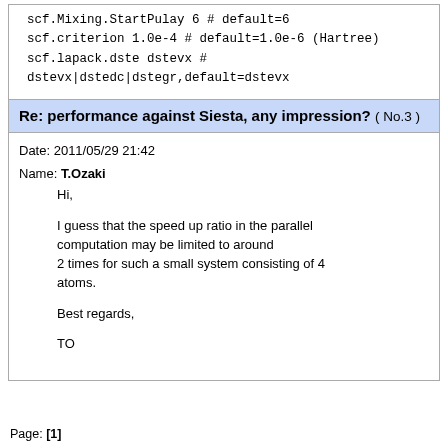scf.Mixing.StartPulay 6 # default=6
scf.criterion 1.0e-4 # default=1.0e-6 (Hartree)
scf.lapack.dste dstevx #
dstevx|dstedc|dstegr,default=dstevx
Re: performance against Siesta, any impression? ( No.3 )
Date: 2011/05/29 21:42
Name: T.Ozaki

Hi,

I guess that the speed up ratio in the parallel computation may be limited to around 2 times for such a small system consisting of 4 atoms.

Best regards,

TO
Page: [1]